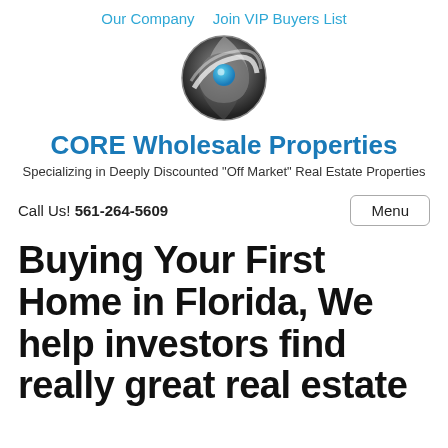Our Company   Join VIP Buyers List
[Figure (logo): CORE Wholesale Properties circular logo with yin-yang style design in black/grey with a blue sphere in the center]
CORE Wholesale Properties
Specializing in Deeply Discounted "Off Market" Real Estate Properties
Call Us! 561-264-5609
Buying Your First Home in Florida, We help investors find really great real estate